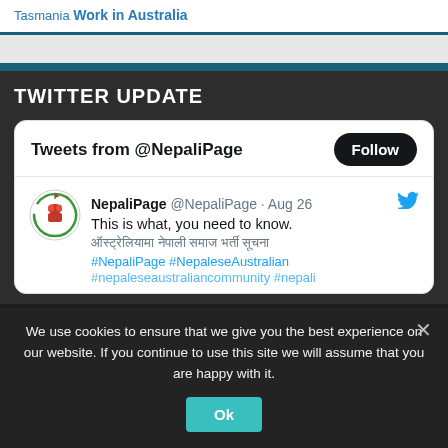Tasmania Work in Australia
TWITTER UPDATE
Tweets from @NepaliPage
NepaliPage @NepaliPage · Aug 26
This is what, you need to know.
[Nepali text]
#NepaliPage #NepaleseAustralian
#nepaleseaustraliancommunity #nepali
We use cookies to ensure that we give you the best experience on our website. If you continue to use this site we will assume that you are happy with it.